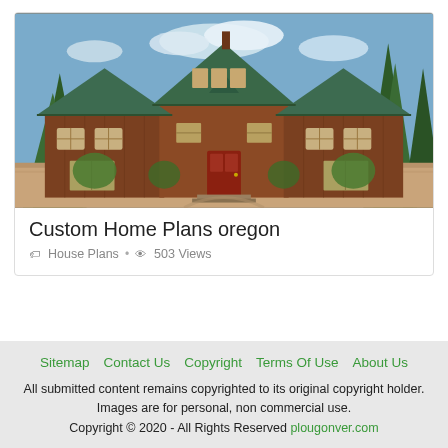[Figure (photo): Exterior photo of a large custom home with brown wood siding, green metal roof, multiple gables, red front door, surrounded by pine trees and landscaping under a partly cloudy sky.]
Custom Home Plans oregon
House Plans · 503 Views
Sitemap  Contact Us  Copyright  Terms Of Use  About Us
All submitted content remains copyrighted to its original copyright holder. Images are for personal, non commercial use.
Copyright © 2020 - All Rights Reserved plougonver.com